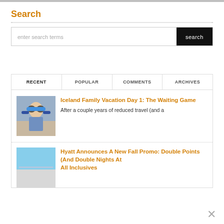[Figure (photo): Partial image at top of page, cropped]
Search
enter search terms
search
| RECENT | POPULAR | COMMENTS | ARCHIVES |
| --- | --- | --- | --- |
[Figure (photo): Child wearing goggles and headphones on airplane]
Iceland Family Vacation Day 1: The Waiting Game
After a couple years of reduced travel (and a
[Figure (photo): Sky and building thumbnail]
Hyatt Announces A New Fall Promo: Double Points (And Double Nights At All Inclusives